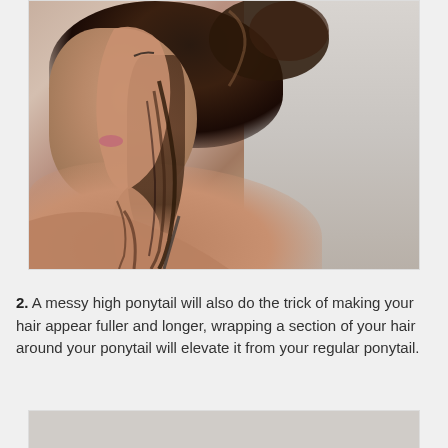[Figure (photo): A woman photographed from behind/side profile showing an elegant messy updo hairstyle. Dark brown hair piled on top of the head with loose strands falling around the neck and shoulders. The woman has bare shoulders against a light grey background.]
2. A messy high ponytail will also do the trick of making your hair appear fuller and longer, wrapping a section of your hair around your ponytail will elevate it from your regular ponytail.
[Figure (photo): Partial view of a second photo, showing the top portion of what appears to be another hair styling photo with a light grey background.]